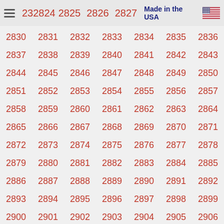23  2824  2825  2826  2827  Made in the USA 🇺🇸
2830 2831 2832 2833 2834 2835 2836
2837 2838 2839 2840 2841 2842 2843
2844 2845 2846 2847 2848 2849 2850
2851 2852 2853 2854 2855 2856 2857
2858 2859 2860 2861 2862 2863 2864
2865 2866 2867 2868 2869 2870 2871
2872 2873 2874 2875 2876 2877 2878
2879 2880 2881 2882 2883 2884 2885
2886 2887 2888 2889 2890 2891 2892
2893 2894 2895 2896 2897 2898 2899
2900 2901 2902 2903 2904 2905 2906
2907 2908 2909 2910 2911 2912 2913